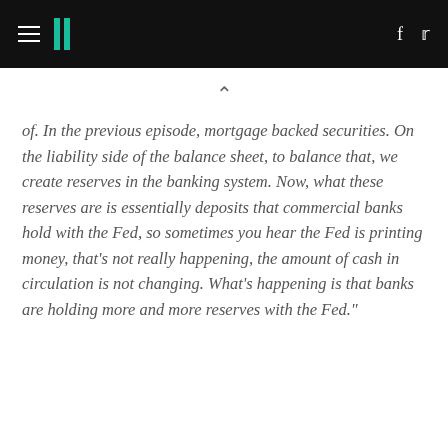HuffPost
of. In the previous episode, mortgage backed securities. On the liability side of the balance sheet, to balance that, we create reserves in the banking system. Now, what these reserves are is essentially deposits that commercial banks hold with the Fed, so sometimes you hear the Fed is printing money, that's not really happening, the amount of cash in circulation is not changing. What's happening is that banks are holding more and more reserves with the Fed."